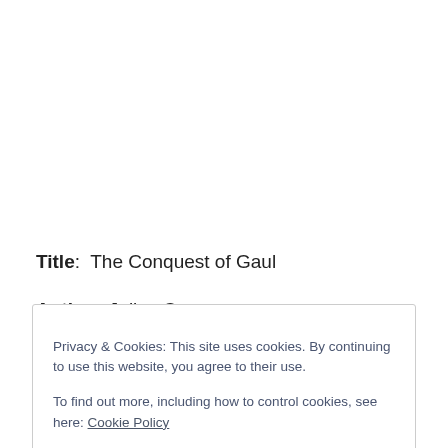Title:  The Conquest of Gaul
Author: Julius Caesar
Privacy & Cookies: This site uses cookies. By continuing to use this website, you agree to their use.
To find out more, including how to control cookies, see here: Cookie Policy